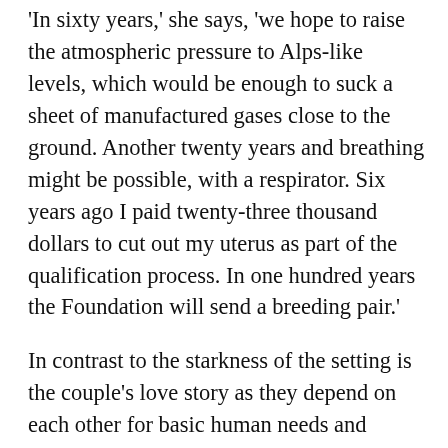'In sixty years,' she says, 'we hope to raise the atmospheric pressure to Alps-like levels, which would be enough to suck a sheet of manufactured gases close to the ground. Another twenty years and breathing might be possible, with a respirator. Six years ago I paid twenty-three thousand dollars to cut out my uterus as part of the qualification process. In one hundred years the Foundation will send a breeding pair.'
In contrast to the starkness of the setting is the couple's love story as they depend on each other for basic human needs and comforts, especially through sex and physical touch. Fittingly, given their bleak situation, the narrator wonders, “Is there such a thing as being adequately close?”